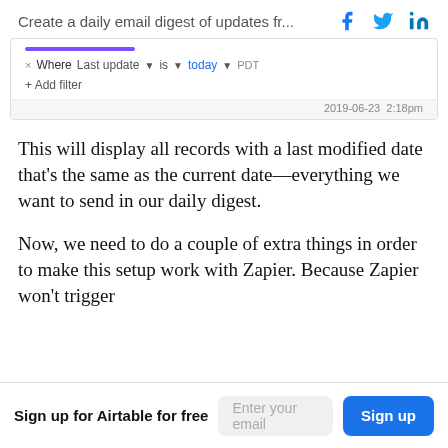Create a daily email digest of updates fr...
[Figure (screenshot): Airtable filter UI showing: Where | Last update ▼ is ▼ today ▼ PDT, with +Add filter option and timestamp 2019-06-23 2:18pm]
This will display all records with a last modified date that's the same as the current date—everything we want to send in our daily digest.
Now, we need to do a couple of extra things in order to make this setup work with Zapier. Because Zapier won't trigger
Sign up for Airtable for free  [Enter your email]  [Sign up]